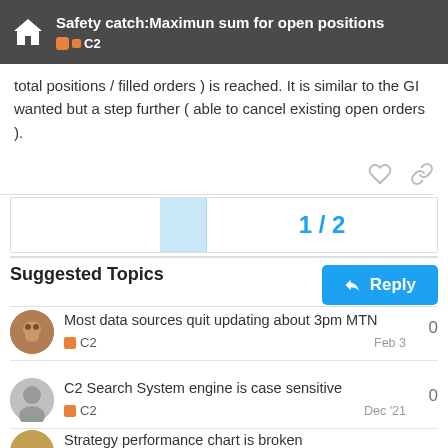Safety catch:Maximun sum for open positions C2
total positions / filled orders ) is reached. It is similar to the GI wanted but a step further ( able to cancel existing open orders ).
1 / 2
Reply
Suggested Topics
Most data sources quit updating about 3pm MTN
C2
Feb 3
0
C2 Search System engine is case sensitive
C2
Dec '21
0
Strategy performance chart is broken